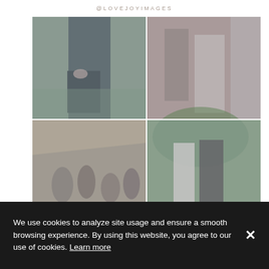@LOVEJOYIMAGES
[Figure (photo): A 2x2 grid of four wedding/couple photography images showing couples in outdoor settings, with a faded blue-gray overlay. Top-left: person holding a dark chalkboard sign outdoors. Top-right: couple embracing near a structure. Bottom-left: group of people at an outdoor event. Bottom-right: couple embracing outdoors among greenery.]
We use cookies to analyze site usage and ensure a smooth browsing experience. By using this website, you agree to our use of cookies. Learn more